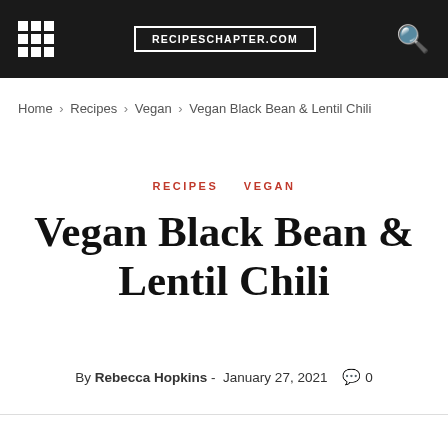RECIPESCHAPTER.COM
Home › Recipes › Vegan › Vegan Black Bean & Lentil Chili
RECIPES   VEGAN
Vegan Black Bean & Lentil Chili
By Rebecca Hopkins - January 27, 2021   0